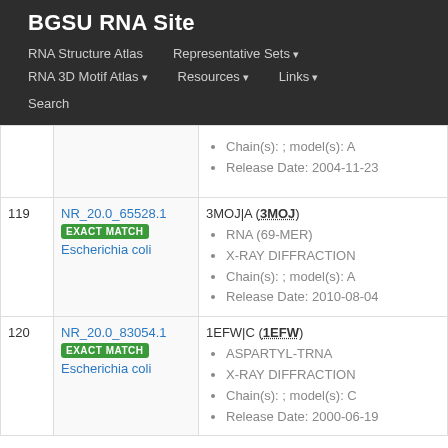BGSU RNA Site
RNA Structure Atlas | Representative Sets ▾ | RNA 3D Motif Atlas ▾ | Resources ▾ | Links ▾ | Search
| # | ID | Details |
| --- | --- | --- |
|  |  | Chain(s): ; model(s): A
Release Date: 2004-11-23 |
| 119 | NR_20.0_65528.1
EXACT MATCH
Escherichia coli | 3MOJ|A (3MOJ)
RNA (69-MER)
X-RAY DIFFRACTION
Chain(s): ; model(s): A
Release Date: 2010-08-04 |
| 120 | NR_20.0_83054.1
EXACT MATCH
Escherichia coli | 1EFW|C (1EFW)
ASPARTYL-TRNA
X-RAY DIFFRACTION
Chain(s): ; model(s): C
Release Date: 2000-06-19 |